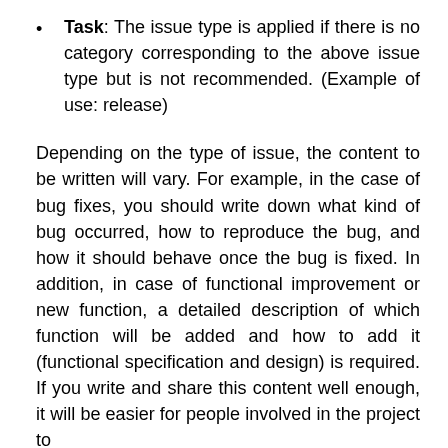Task: The issue type is applied if there is no category corresponding to the above issue type but is not recommended. (Example of use: release)
Depending on the type of issue, the content to be written will vary. For example, in the case of bug fixes, you should write down what kind of bug occurred, how to reproduce the bug, and how it should behave once the bug is fixed. In addition, in case of functional improvement or new function, a detailed description of which function will be added and how to add it (functional specification and design) is required. If you write and share this content well enough, it will be easier for people involved in the project to